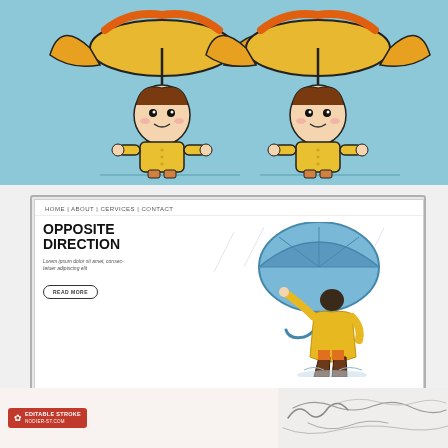[Figure (illustration): Two cute cartoon chibi children wearing yellow raincoats with large umbrella hats shaped like foxes/bears, standing against a light blue background]
[Figure (screenshot): Website mockup with navigation bar reading HOME | ABOUT | CERVICES | CONTACT, bold title OPPOSITE DIRECTION, lorem ipsum body text, READ MORE button, and illustration of person in yellow raincoat holding blue umbrella in wind]
[Figure (illustration): Bottom strip with red badge showing EDITABLE STROKE text and a logo icon on the left half, and what appears to be handwriting or signature strokes on the right half against a light background]